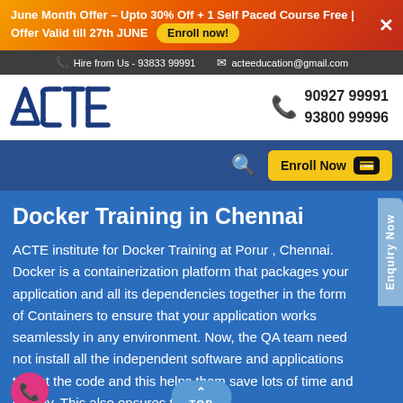June Month Offer – Upto 30% Off + 1 Self Paced Course Free | Offer Valid till 27th JUNE  Enroll now!
Hire from Us - 93833 99991   acteeducation@gmail.com
[Figure (logo): ACTE logo in blue with stylized letters]
90927 99991
93800 99996
Enroll Now
Docker Training in Chennai
ACTE institute for Docker Training at Porur , Chennai. Docker is a containerization platform that packages your application and all its dependencies together in the form of Containers to ensure that your application works seamlessly in any environment. Now, the QA team need not install all the independent software and applications to test the code and this helps them save lots of time and energy. This also ensures that